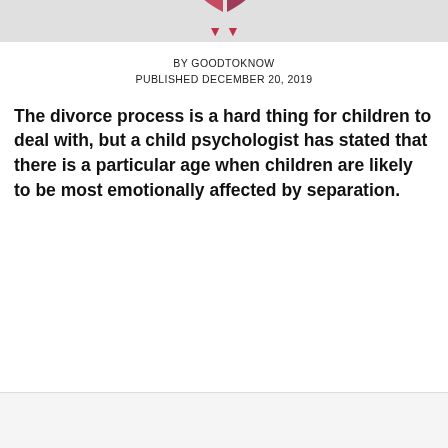[Figure (illustration): Partial view of a broken heart illustration with red/dark red heart shapes on a light grey background at the top of the page]
BY GOODTOKNOW
PUBLISHED DECEMBER 20, 2019
The divorce process is a hard thing for children to deal with, but a child psychologist has stated that there is a particular age when children are likely to be most emotionally affected by separation.